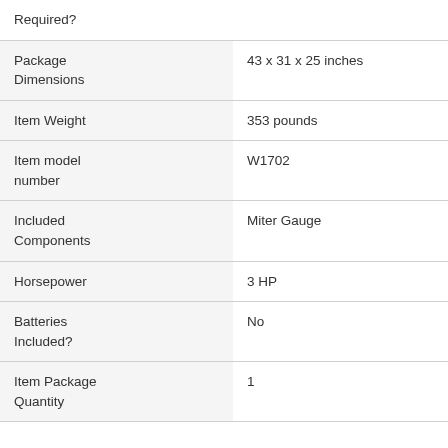| Attribute | Value |
| --- | --- |
| Required? |  |
| Package Dimensions | 43 x 31 x 25 inches |
| Item Weight | 353 pounds |
| Item model number | W1702 |
| Included Components | Miter Gauge |
| Horsepower | 3 HP |
| Batteries Included? | No |
| Item Package Quantity | 1 |